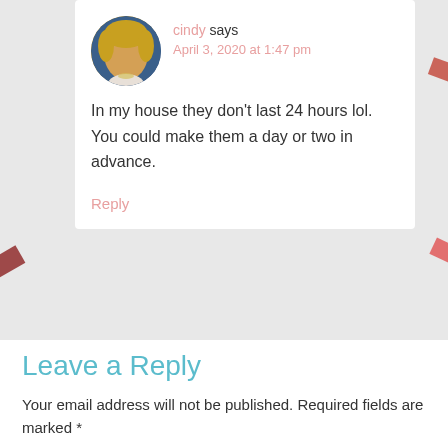[Figure (photo): Round avatar photo of a woman with blonde hair against a blue background]
cindy says
April 3, 2020 at 1:47 pm
In my house they don't last 24 hours lol. You could make them a day or two in advance.
Reply
Leave a Reply
Your email address will not be published. Required fields are marked *
Recipe Rating
Recipe Rating